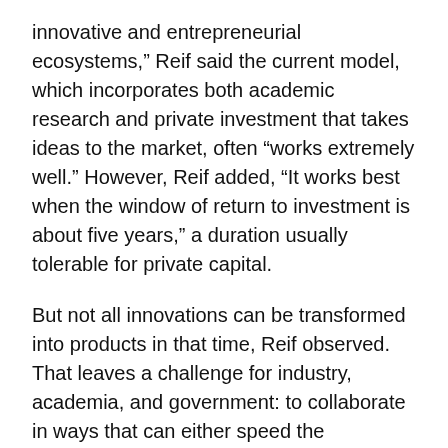innovative and entrepreneurial ecosystems,” Reif said the current model, which incorporates both academic research and private investment that takes ideas to the market, often “works extremely well.” However, Reif added, “It works best when the window of return to investment is about five years,” a duration usually tolerable for private capital.
But not all innovations can be transformed into products in that time, Reif observed. That leaves a challenge for industry, academia, and government: to collaborate in ways that can either speed the development of technologies or spread the financial foundations of innovative businesses, to help them deliver on their potential.